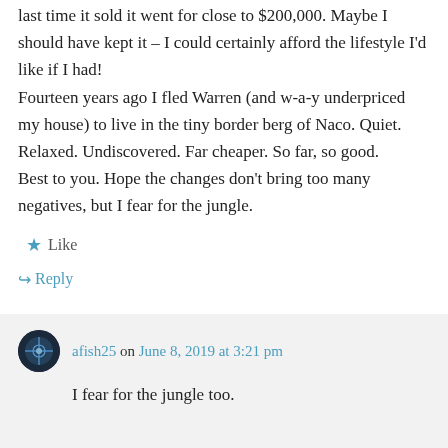last time it sold it went for close to $200,000. Maybe I should have kept it – I could certainly afford the lifestyle I'd like if I had! Fourteen years ago I fled Warren (and w-a-y underpriced my house) to live in the tiny border berg of Naco. Quiet. Relaxed. Undiscovered. Far cheaper. So far, so good. Best to you. Hope the changes don't bring too many negatives, but I fear for the jungle.
★ Like
↪ Reply
afish25 on June 8, 2019 at 3:21 pm
I fear for the jungle too.